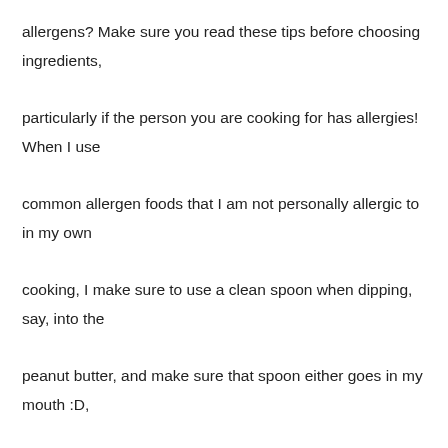allergens? Make sure you read these tips before choosing ingredients, particularly if the person you are cooking for has allergies! When I use common allergen foods that I am not personally allergic to in my own cooking, I make sure to use a clean spoon when dipping, say, into the peanut butter, and make sure that spoon either goes in my mouth :D, or directly into the sink, not into the jam jar or butter, for instance. Using clean implements is a good practice anyways.
Gluten-Free (use GF tamari, Braggs Liquid Aminos or Coconut Aminos)
Soy-Free (use Coconut Amino's in place of soysauce, and Chickpea tempeh)
Processed Sugar Free (possibly use Stevia if trying to replace all sugars? try experimenting with little amounts of Rice Syrup, my favorite low sugar syrup, or honey)
Nut Free (use a creamy seed butter, such as Tahini (Sesame butter)